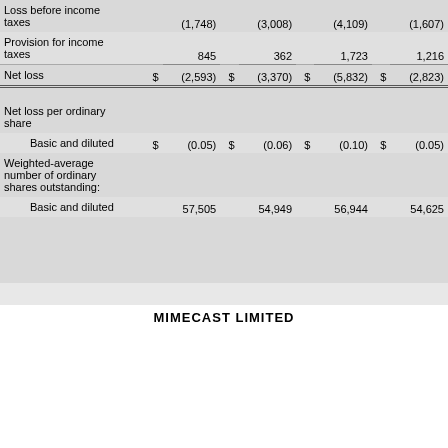|  | $ |  | $ |  | $ |  | $ |  |
| --- | --- | --- | --- | --- | --- | --- | --- | --- |
| Loss before income taxes | (1,748) |  | (3,008) |  | (4,109) |  | (1,607) |  |
| Provision for income taxes | 845 |  | 362 |  | 1,723 |  | 1,216 |  |
| Net loss | $ (2,593) | $ (3,370) | $ (5,832) | $ (2,823) |
| Net loss per ordinary share |  |  |  |  |
| Basic and diluted | $ (0.05) | $ (0.06) | $ (0.10) | $ (0.05) |
| Weighted-average number of ordinary shares outstanding: |  |  |  |  |
| Basic and diluted | 57,505 | 54,949 | 56,944 | 54,625 |
MIMECAST LIMITED